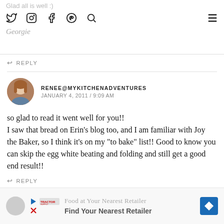Glad all is well :)
REPLY
RENEE@MYKITCHENADVENTURES
JANUARY 4, 2011 / 9:09 AM
so glad to read it went well for you!!
I saw that bread on Erin’s blog too, and I am familiar with Joy the Baker, so I think it’s on my “to bake” list!! Good to know you can skip the egg white beating and folding and still get a good end result!!
REPLY
Food at Your Nearest Retailer
Find Your Nearest Retailer